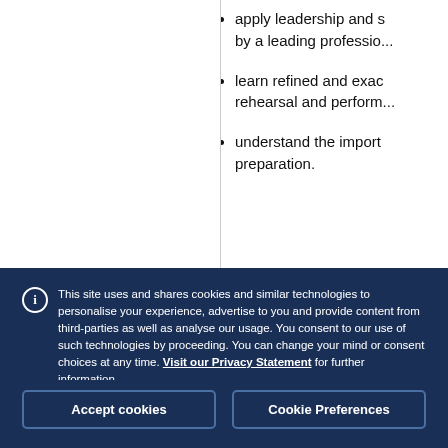apply leadership and s... by a leading professio...
learn refined and exac... rehearsal and perform...
understand the import... preparation.
This site uses and shares cookies and similar technologies to personalise your experience, advertise to you and provide content from third-parties as well as analyse our usage. You consent to our use of such technologies by proceeding. You can change your mind or consent choices at any time. Visit our Privacy Statement for further information.
Accept cookies
Cookie Preferences